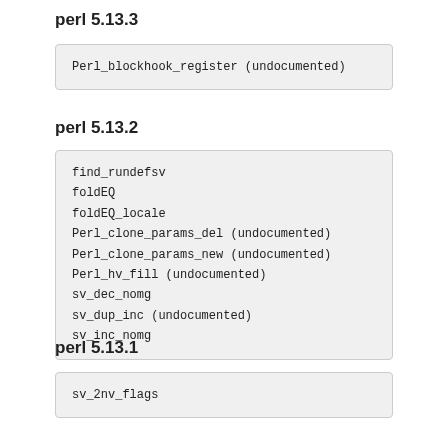perl 5.13.3
Perl_blockhook_register  (undocumented)
perl 5.13.2
find_rundefsv
foldEQ
foldEQ_locale
Perl_clone_params_del  (undocumented)
Perl_clone_params_new  (undocumented)
Perl_hv_fill  (undocumented)
sv_dec_nomg
sv_dup_inc  (undocumented)
sv_inc_nomg
perl 5.13.1
sv_2nv_flags